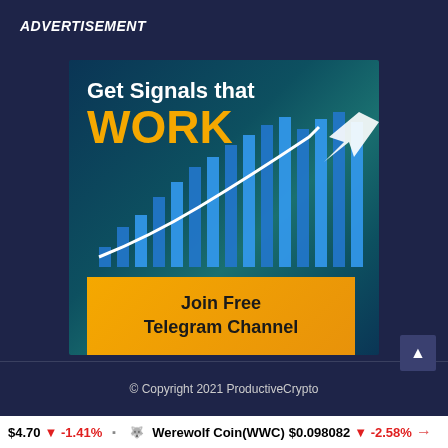ADVERTISEMENT
[Figure (infographic): Advertisement banner: 'Get Signals that WORK' with stock chart background showing blue bars and white upward arrow, with a golden 'Join Free Telegram Channel' button]
© Copyright 2021 ProductiveCrypto
$4.70 ↓ -1.41%   🐺 Werewolf Coin(WWC) $0.098082 ↓ -2.58%